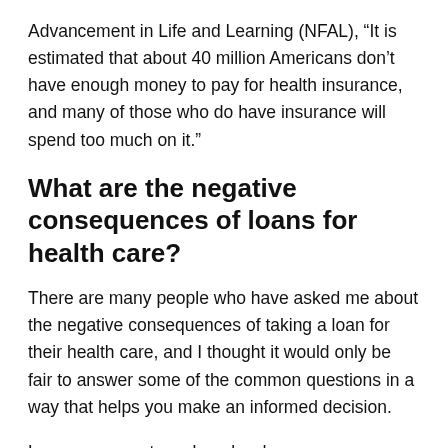Advancement in Life and Learning (NFAL), “It is estimated that about 40 million Americans don’t have enough money to pay for health insurance, and many of those who do have insurance will spend too much on it.”
What are the negative consequences of loans for health care?
There are many people who have asked me about the negative consequences of taking a loan for their health care, and I thought it would only be fair to answer some of the common questions in a way that helps you make an informed decision.
Loan repayment can be a burden on your finances. It will also require you to miss out on regular payments as you struggle with excessive debt. If you make regular payments, then you may have no choice but to